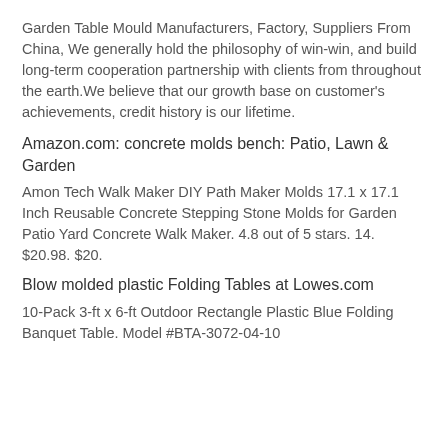Garden Table Mould Manufacturers, Factory, Suppliers From China, We generally hold the philosophy of win-win, and build long-term cooperation partnership with clients from throughout the earth.We believe that our growth base on customer's achievements, credit history is our lifetime.
Amazon.com: concrete molds bench: Patio, Lawn & Garden
Amon Tech Walk Maker DIY Path Maker Molds 17.1 x 17.1 Inch Reusable Concrete Stepping Stone Molds for Garden Patio Yard Concrete Walk Maker. 4.8 out of 5 stars. 14. $20.98. $20.
Blow molded plastic Folding Tables at Lowes.com
10-Pack 3-ft x 6-ft Outdoor Rectangle Plastic Blue Folding Banquet Table. Model #BTA-3072-04-10